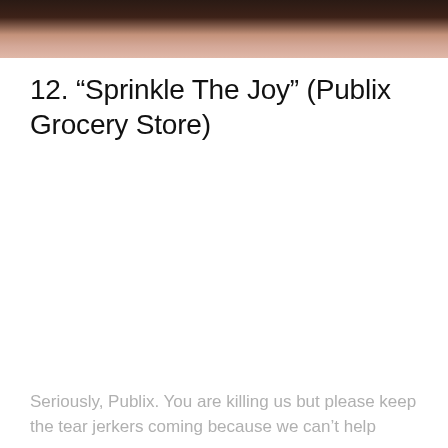[Figure (photo): Partial photo at the top of the page showing a close-up, darkened image of a person's skin/face area, cropped to just the top strip.]
12. “Sprinkle The Joy” (Publix Grocery Store)
Seriously, Publix. You are killing us but please keep the tear jerkers coming because we can’t help